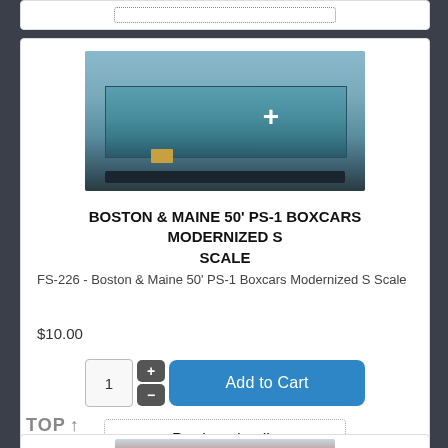[Figure (photo): Blue Boston & Maine 50-foot PS-1 boxcar photograph, side view]
BOSTON & MAINE 50' PS-1 BOXCARS MODERNIZED S SCALE
FS-226 - Boston & Maine 50' PS-1 Boxcars Modernized S Scale
$10.00
Add to Cart
Product details
[Figure (photo): Dark red/brown vintage boxcar photograph, partially visible at bottom of page]